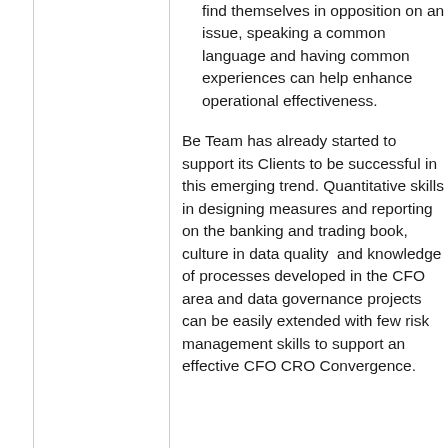find themselves in opposition on an issue, speaking a common language and having common experiences can help enhance operational effectiveness.
Be Team has already started to support its Clients to be successful in this emerging trend. Quantitative skills in designing measures and reporting on the banking and trading book, culture in data quality and knowledge of processes developed in the CFO area and data governance projects can be easily extended with few risk management skills to support an effective CFO CRO Convergence.